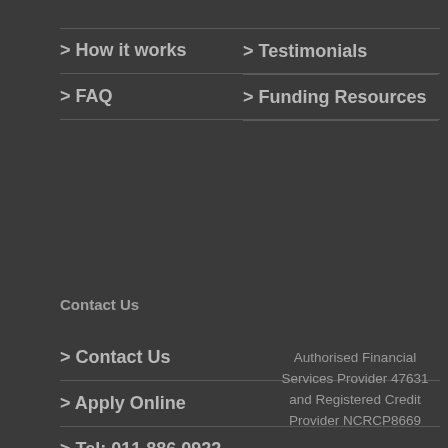> How it works
> FAQ
> Testimonials
> Funding Resources
Contact Us
> Contact Us
> Apply Online
> Tel: 011 886 0922
> Legal Notices
Authorised Financial Services Provider 47631 and Registered Credit Provider NCRCP8669